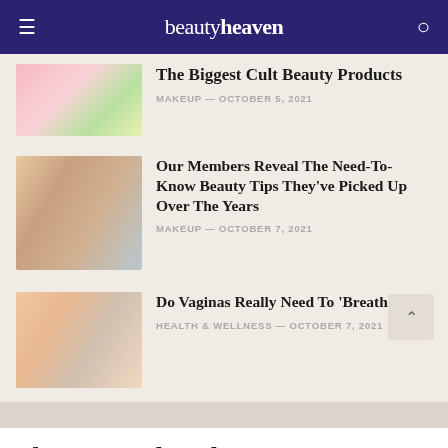beautyheaven
The Biggest Cult Beauty Products
MAKEUP — OCTOBER 5, 2021
Our Members Reveal The Need-To-Know Beauty Tips They've Picked Up Over The Years
MAKEUP — OCTOBER 7, 2021
Do Vaginas Really Need To 'Breathe'?
HEALTH & WELLNESS — OCTOBER 7, 2021
Share your thoughts
You mu